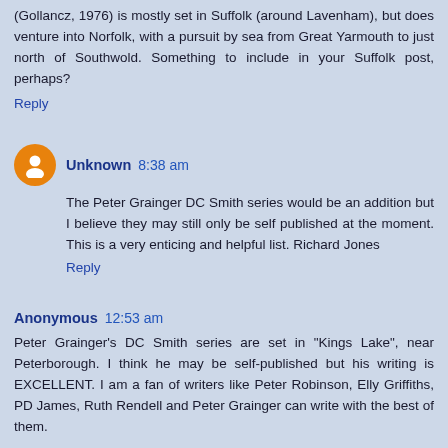(Gollancz, 1976) is mostly set in Suffolk (around Lavenham), but does venture into Norfolk, with a pursuit by sea from Great Yarmouth to just north of Southwold. Something to include in your Suffolk post, perhaps?
Reply
Unknown 8:38 am
The Peter Grainger DC Smith series would be an addition but I believe they may still only be self published at the moment. This is a very enticing and helpful list. Richard Jones
Reply
Anonymous 12:53 am
Peter Grainger's DC Smith series are set in "Kings Lake", near Peterborough. I think he may be self-published but his writing is EXCELLENT. I am a fan of writers like Peter Robinson, Elly Griffiths, PD James, Ruth Rendell and Peter Grainger can write with the best of them.